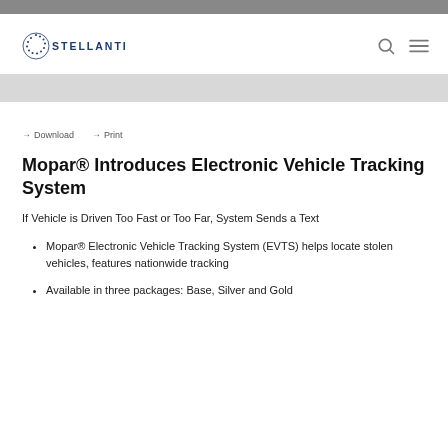STELLANTIS
→ Download  → Print
Mopar® Introduces Electronic Vehicle Tracking System
If Vehicle is Driven Too Fast or Too Far, System Sends a Text
Mopar® Electronic Vehicle Tracking System (EVTS) helps locate stolen vehicles, features nationwide tracking
Available in three packages: Base, Silver and Gold